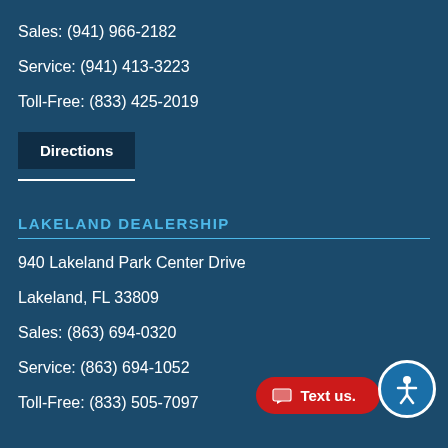Sales: (941) 966-2182
Service: (941) 413-3223
Toll-Free: (833) 425-2019
Directions
LAKELAND DEALERSHIP
940 Lakeland Park Center Drive
Lakeland, FL 33809
Sales: (863) 694-0320
Service: (863) 694-1052
Toll-Free: (833) 505-7097